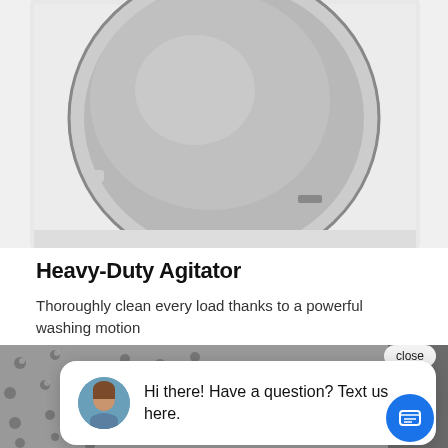[Figure (photo): Top view of a white top-load washing machine showing the drum interior with stainless steel tub, lid open, cropped at top of page]
Heavy-Duty Agitator
Thoroughly clean every load thanks to a powerful washing motion
[Figure (screenshot): Chat popup overlay with close button, showing a female agent avatar, text 'Hi there! Have a question? Text us here.', a blue circular chat FAB button with message icon, over a background image of a stainless steel washing machine drum interior with raised dot pattern]